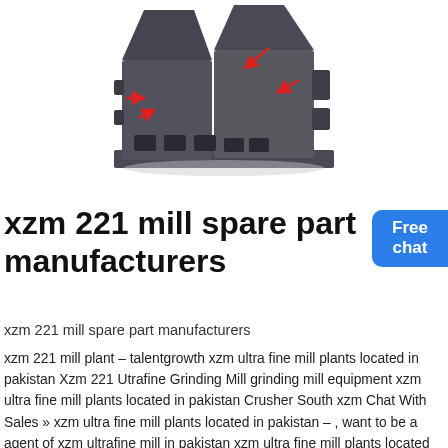[Figure (photo): Industrial impact crusher/mill machine in dark grey metal, with red arrow annotations pointing to components, photographed against white background.]
xzm 221 mill spare part manufacturers
xzm 221 mill spare part manufacturers
xzm 221 mill plant – talentgrowth xzm ultra fine mill plants located in pakistan Xzm 221 Utrafine Grinding Mill grinding mill equipment xzm ultra fine mill plants located in pakistan Crusher South xzm Chat With Sales » xzm ultra fine mill plants located in pakistan – , want to be a agent of xzm ultrafine mill in pakistan xzm ultra fine mill plants located in russia want to be a agent of xzm.